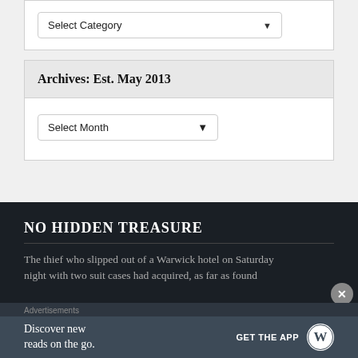[Figure (screenshot): Select Category dropdown widget]
Archives: Est. May 2013
[Figure (screenshot): Select Month dropdown widget]
NO HIDDEN TREASURE
The thief who slipped out of a Warwick hotel on Saturday night with two suit cases had acquired, as far as found
Advertisements
Discover new reads on the go.
GET THE APP